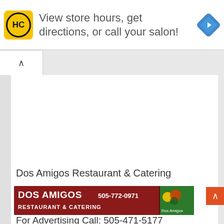[Figure (screenshot): Top ad banner with HC logo, navigation diamond icon, and text: View store hours, get directions, or call your salon!]
View store hours, get directions, or call your salon!
[Figure (screenshot): Accordion chevron / navigation bar collapsed]
Dos Amigos Restaurant & Catering
[Figure (logo): Dos Amigos Restaurant & Catering banner: dark red background, white bold text DOS AMIGOS 505-772-0971, subtitle RESTAURANT & CATERING, Dos Amigos logo with mascot on right side]
For Advertising Call: 505-471-5177